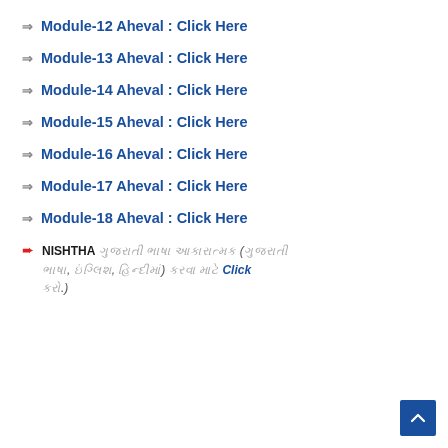➩ Module-12 Aheval : Click Here
➩ Module-13 Aheval : Click Here
➩ Module-14 Aheval : Click Here
➩ Module-15 Aheval : Click Here
➩ Module-16 Aheval : Click Here
➩ Module-17 Aheval : Click Here
➩ Module-18 Aheval : Click Here
➨ NISHTHA [Gujarati text] ([Gujarati text], [Gujarati text], [Gujarati text]) [Gujarati text] Click [Gujarati text].)